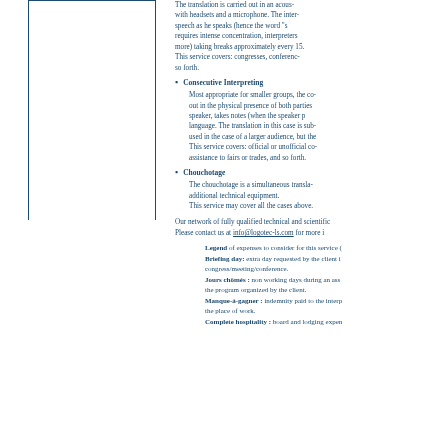The translation is carried out in an acous- with headsets and a microphone. The inter- speech as he speaks (hence the word 's requires intense concentration, interpreters more) taking breaks approximately every 15. This service covers: congresses, conferenc- so forth.
Consecutive Interpreting
Most appropriate for smaller groups, the co- out in the physical presence of both parties speaker, takes notes (when the speaker p language. The translation in this case is sub- used in the case of a larger audience, but the This service covers: official or unofficial co- assistance to fairs or trades, and so forth.
Chouchotage
The chouchotage is a simultaneous transla- additional technical equipment. This service may cover all the cases above.
Our network of fully qualified technical and scientific Please contact us at info@logotec-ls.com for more i
Legend of expenses to consider for this service ( Briefing day: extra day requested by the client i congress/meeting/conference. Jours chômés : non working days during an ass the program organized by the client. Manque-à-gagner : indemnity paid to the interp the place of work. Complete hospitality : board and lodging expen